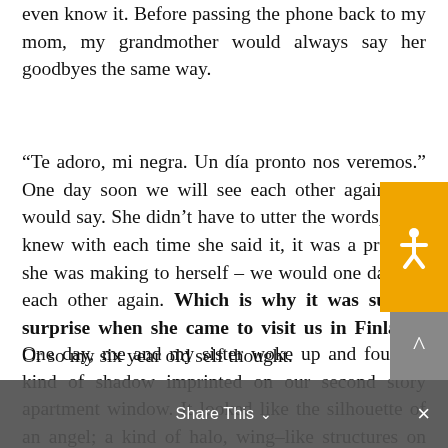even know it. Before passing the phone back to my mom, my grandmother would always say her goodbyes the same way.
“Te adoro, mi negra. Un día pronto nos veremos.” One day soon we will see each other again, she would say. She didn’t have to utter the words, but I knew with each time she said it, it was a promise she was making to herself – we would one day see each other again. Which is why it was such a surprise when she came to visit us in Finland! Or so my six year old self thought.
One day, me and my sister woke up and found a kind of shadow imprinted on our second story apartment window. It looked like the silhouette of an angel; a kind of halo, wing-like structures on either side, and a smudged type of face under the